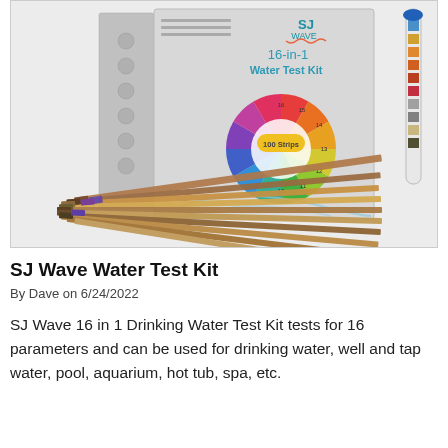[Figure (photo): Product photo of SJ Wave 16-in-1 Water Test Kit box with colorful color wheel on front panel showing 100 Strips label, test tube with colored segments on the right, and multiple colored test strips fanned out at the bottom.]
SJ Wave Water Test Kit
By Dave on 6/24/2022
SJ Wave 16 in 1 Drinking Water Test Kit tests for 16 parameters and can be used for drinking water, well and tap water, pool, aquarium, hot tub, spa, etc.